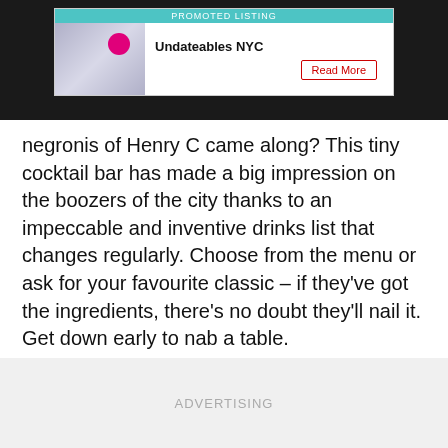[Figure (other): Promoted listing ad banner for Undateables NYC with a photo of people and a teal header bar reading PROMOTED LISTING, bold title Undateables NYC, and a red-bordered Read More button]
negronis of Henry C came along? This tiny cocktail bar has made a big impression on the boozers of the city thanks to an impeccable and inventive drinks list that changes regularly. Choose from the menu or ask for your favourite classic – if they've got the ingredients, there's no doubt they'll nail it. Get down early to nab a table.
Read more
ADVERTISING